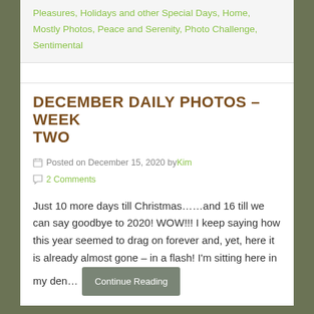Pleasures, Holidays and other Special Days, Home, Mostly Photos, Peace and Serenity, Photo Challenge, Sentimental
DECEMBER DAILY PHOTOS – WEEK TWO
Posted on December 15, 2020 by Kim
2 Comments
Just 10 more days till Christmas……and 16 till we can say goodbye to 2020! WOW!!! I keep saying how this year seemed to drag on forever and, yet, here it is already almost gone – in a flash! I'm sitting here in my den… Continue Reading